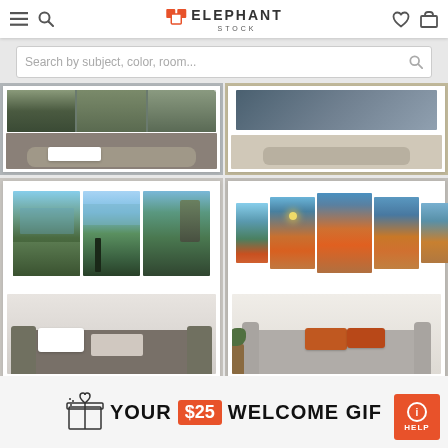ELEPHANT STOCK
Search by subject, color, room...
[Figure (photo): Two product listing cards showing canvas art prints of mountain lake landscapes displayed in living room settings. Left card shows a triptych panoramic art above a gray sofa. Right card shows a 5-panel sunset mountain lake art set above a gray sofa with orange pillows.]
YOUR $25 WELCOME GIF...